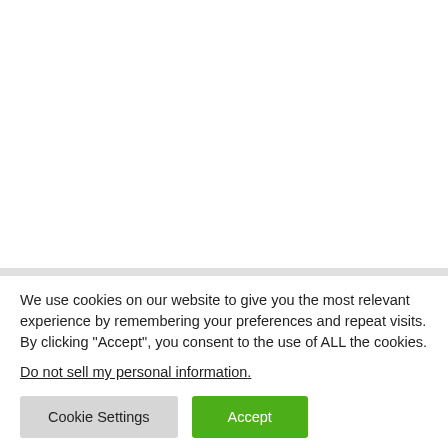We use cookies on our website to give you the most relevant experience by remembering your preferences and repeat visits. By clicking “Accept”, you consent to the use of ALL the cookies.
Do not sell my personal information.
Cookie Settings | Accept